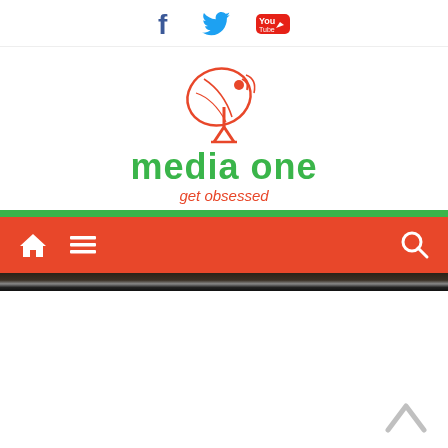Social media icons: Facebook, Twitter, YouTube
[Figure (logo): Media One logo with satellite dish icon in red and text 'media one' in green with tagline 'get obsessed' in red italic]
[Figure (screenshot): Navigation bar with red background, home icon, menu icon on left, search icon on right, with a green bar above]
[Figure (photo): Partial dark image strip at the top of a content area, mostly white below with a back-to-top arrow in grey at bottom right]